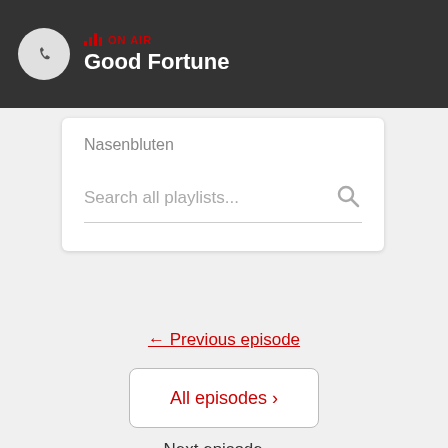ON AIR — Good Fortune
Nasenbluten
Search all playlists...
← Previous episode
All episodes ›
Next episode →